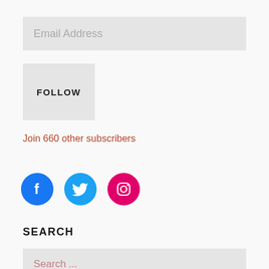Email Address
FOLLOW
Join 660 other subscribers
[Figure (illustration): Three social media icons in circles: Facebook (blue), Twitter (light blue), Instagram (pink/magenta)]
SEARCH
Search ...